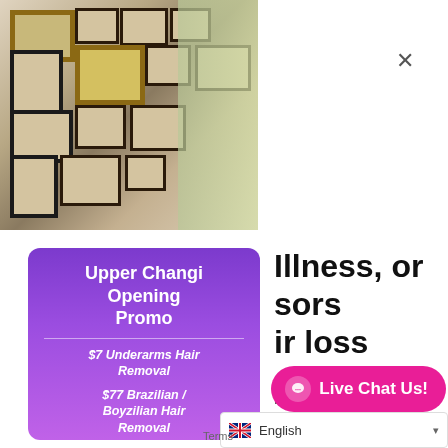[Figure (photo): Interior hallway/gallery wall with multiple framed pictures and artwork hung on wall, with a corridor visible in background]
[Figure (infographic): Purple gradient promotional card: Upper Changi Opening Promo with deals: $7 Underarms Hair Removal, $77 Brazilian / Boyzilian Hair Removal, $777 Spend to Earn Future Credits $77 ~]
Illness, or sors ir loss
for women to after giving birth. a woman's body nanges and her hair monal fluctuations ecome thick and birth hormones return to their
[Figure (screenshot): Live Chat Us! button in pink/magenta color with chat bubble icon]
[Figure (screenshot): Language selector showing English with UK flag and dropdown chevron]